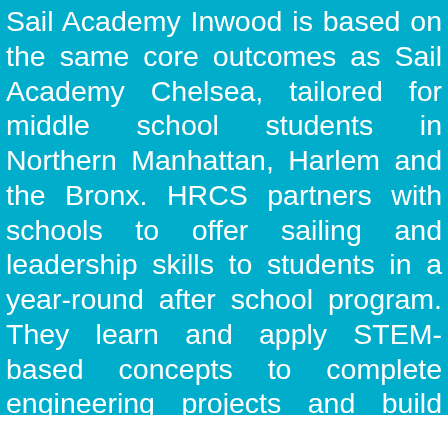Sail Academy Inwood is based on the same core outcomes as Sail Academy Chelsea, tailored for middle school students in Northern Manhattan, Harlem and the Bronx. HRCS partners with schools to offer sailing and leadership skills to students in a year-round after school program. They learn and apply STEM-based concepts to complete engineering projects and build wooden boats. On the water and in the classroom, boats are the platform for innovative problem solving and hands-on learning, providing a foundation for success in high school and beyond.